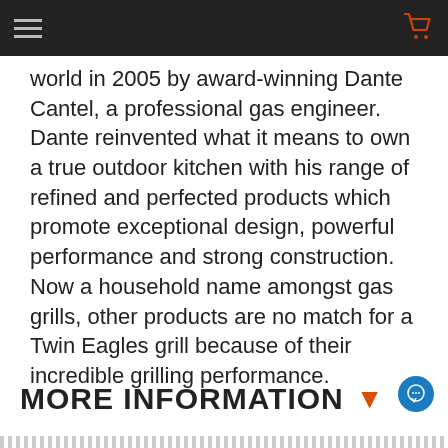world in 2005 by award-winning Dante Cantel, a professional gas engineer. Dante reinvented what it means to own a true outdoor kitchen with his range of refined and perfected products which promote exceptional design, powerful performance and strong construction. Now a household name amongst gas grills, other products are no match for a Twin Eagles grill because of their incredible grilling performance.
MORE INFORMATION